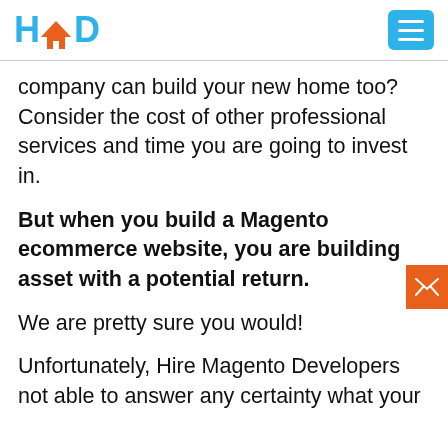HmD
company can build your new home too? Consider the cost of other professional services and time you are going to invest in.
But when you build a Magento ecommerce website, you are building asset with a potential return.
We are pretty sure you would!
Unfortunately, Hire Magento Developers not able to answer any certainty what your